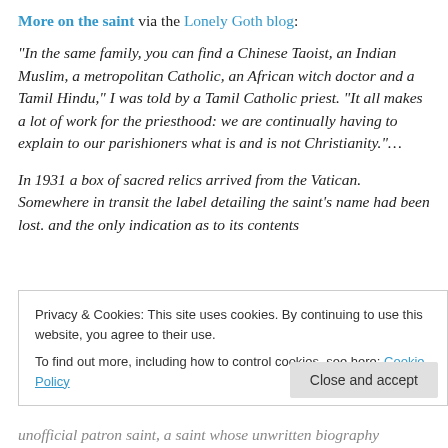More on the saint via the Lonely Goth blog:
“In the same family, you can find a Chinese Taoist, an Indian Muslim, a metropolitan Catholic, an African witch doctor and a Tamil Hindu,” I was told by a Tamil Catholic priest. “It all makes a lot of work for the priesthood: we are continually having to explain to our parishioners what is and is not Christianity.”…
In 1931 a box of sacred relics arrived from the Vatican. Somewhere in transit the label detailing the saint’s name had been lost. and the only indication as to its contents
Privacy & Cookies: This site uses cookies. By continuing to use this website, you agree to their use.
To find out more, including how to control cookies, see here: Cookie Policy
Close and accept
unofficial patron saint, a saint whose unwritten biography